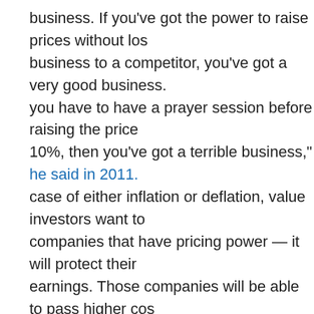business. If you've got the power to raise prices without losing business to a competitor, you've got a very good business. If you have to have a prayer session before raising the price 10%, then you've got a terrible business," he said in 2011. case of either inflation or deflation, value investors want to companies that have pricing power — it will protect their earnings. Those companies will be able to pass higher costs their customers during a time of inflation and maintain their prices during deflation without fear of volume decline or loss market share.
Charlie Munger, the influential partner to Buffett's success, commented on the valuation effect of "untapped pricing power" for wide-moat compounders like Disney and See's Candy:
"There are actually businesses, that you will find a few times in a lifetime, where any manager could raise the return enormously